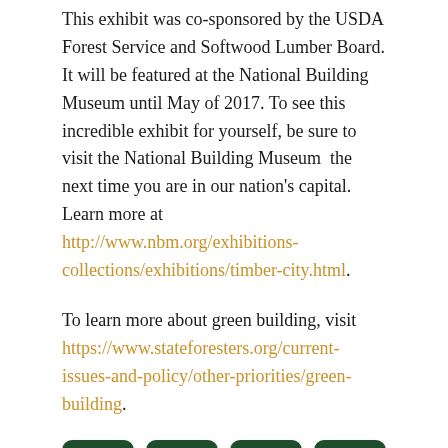This exhibit was co-sponsored by the USDA Forest Service and Softwood Lumber Board. It will be featured at the National Building Museum until May of 2017. To see this incredible exhibit for yourself, be sure to visit the National Building Museum  the next time you are in our nation's capital. Learn more at http://www.nbm.org/exhibitions-collections/exhibitions/timber-city.html.
To learn more about green building, visit https://www.stateforesters.org/current-issues-and-policy/other-priorities/green-building.
[Figure (other): Four dark green rounded square social media icon buttons: Facebook (f), Twitter (bird), LinkedIn (in), Pinterest (p)]